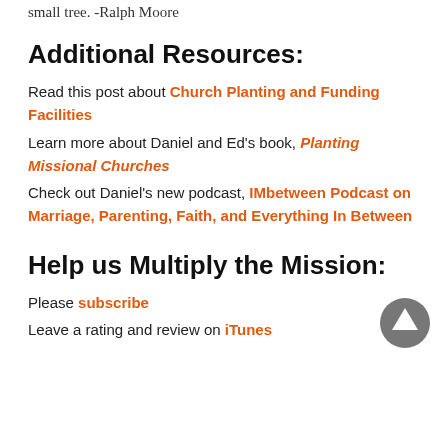small tree. -Ralph Moore
Additional Resources:
Read this post about Church Planting and Funding Facilities
Learn more about Daniel and Ed's book, Planting Missional Churches
Check out Daniel's new podcast, IMbetween Podcast on Marriage, Parenting, Faith, and Everything In Between
Help us Multiply the Mission:
Please subscribe
Leave a rating and review on iTunes